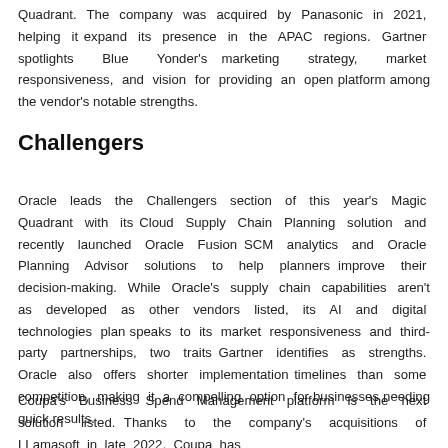Quadrant. The company was acquired by Panasonic in 2021, helping it expand its presence in the APAC regions. Gartner spotlights Blue Yonder's marketing strategy, market responsiveness, and vision for providing an open platform among the vendor's notable strengths.
Challengers
Oracle leads the Challengers section of this year's Magic Quadrant with its Cloud Supply Chain Planning solution and recently launched Oracle Fusion SCM analytics and Oracle Planning Advisor solutions to help planners improve their decision-making. While Oracle's supply chain capabilities aren't as developed as other vendors listed, its AI and digital technologies plan speaks to its market responsiveness and third-party partnerships, two traits Gartner identifies as strengths. Oracle also offers shorter implementation timelines than some competition, making it a compelling option for businesses needing quick results.
Coupa's Business Spend Management platform is the next solution listed. Thanks to the company's acquisitions of LLamasoft in late 2022, Coupa has